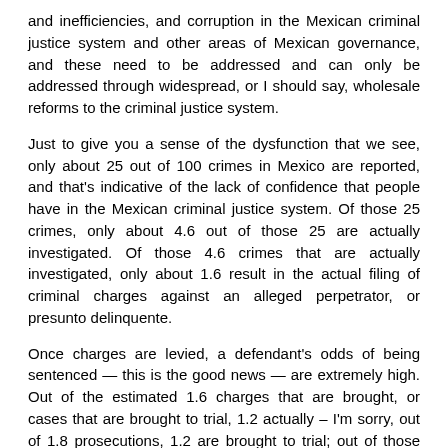and inefficiencies, and corruption in the Mexican criminal justice system and other areas of Mexican governance, and these need to be addressed and can only be addressed through widespread, or I should say, wholesale reforms to the criminal justice system.
Just to give you a sense of the dysfunction that we see, only about 25 out of 100 crimes in Mexico are reported, and that's indicative of the lack of confidence that people have in the Mexican criminal justice system. Of those 25 crimes, only about 4.6 out of those 25 are actually investigated. Of those 4.6 crimes that are actually investigated, only about 1.6 result in the actual filing of criminal charges against an alleged perpetrator, or presunto delinquente.
Once charges are levied, a defendant's odds of being sentenced — this is the good news — are extremely high. Out of the estimated 1.6 charges that are brought, or cases that are brought to trial, 1.2 actually – I'm sorry, out of 1.8 prosecutions, 1.2 are brought to trial; out of those 1.2, 1.1 result in a sentence. So very high success rate in terms of prosecutions, as long as you forget the fact that the vast majority of crimes go unpunished. This is, I think, a serious concern, and it led to a number of reforms that I'll mention in my closing remarks in just a few minutes.
A second concern, a very serious concern in the Mexican context,